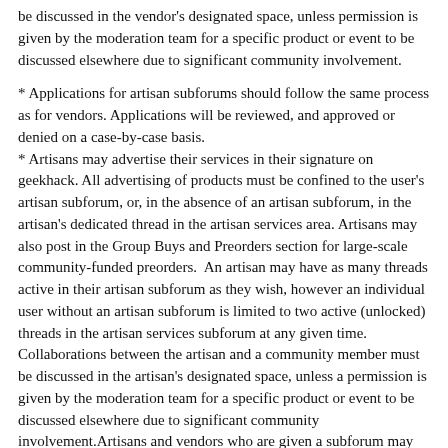be discussed in the vendor's designated space, unless permission is given by the moderation team for a specific product or event to be discussed elsewhere due to significant community involvement.
* Applications for artisan subforums should follow the same process as for vendors. Applications will be reviewed, and approved or denied on a case-by-case basis.
* Artisans may advertise their services in their signature on geekhack. All advertising of products must be confined to the user's artisan subforum, or, in the absence of an artisan subforum, in the artisan's dedicated thread in the artisan services area. Artisans may also post in the Group Buys and Preorders section for large-scale community-funded preorders.  An artisan may have as many threads active in their artisan subforum as they wish, however an individual user without an artisan subforum is limited to two active (unlocked) threads in the artisan services subforum at any given time. Collaborations between the artisan and a community member must be discussed in the artisan's designated space, unless a permission is given by the moderation team for a specific product or event to be discussed elsewhere due to significant community involvement.Artisans and vendors who are given a subforum may have members of their team made moderators in their specific subforum only.
. . .